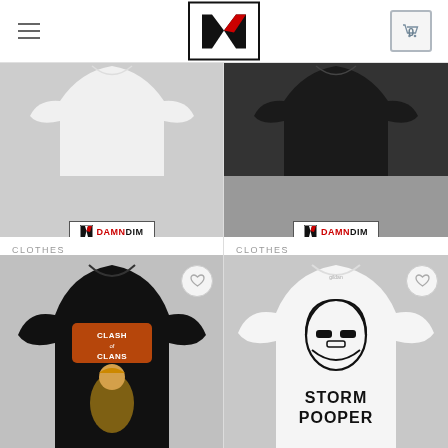[Figure (logo): DamnDim store logo - stylized M with red accent in black border box]
[Figure (photo): White t-shirt with DamnDim logo label, partially visible cropped top]
CLOTHES
Clash Of Clans Dragon Custom Tshirts and Adult Unisex Tshirt
$17.52 – $21.52
[Figure (photo): Black t-shirt with DamnDim logo label, partially visible cropped top]
CLOTHES
Clash Of Clans Giant Custom Tshirts and Adult Unisex Tshirt
$17.52 – $21.52
[Figure (photo): Black t-shirt with Clash of Clans Barbarian King character graphic print]
[Figure (photo): White t-shirt with Stormtrooper helmet graphic and 'STORM POOPER' text]